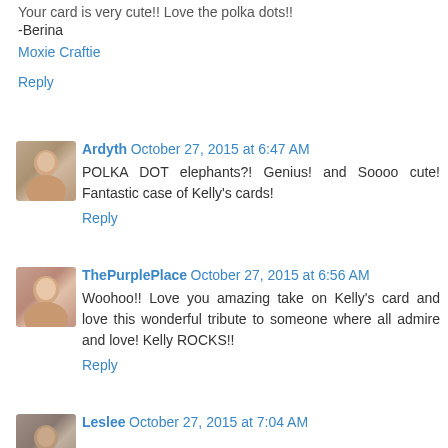Your card is very cute!! Love the polka dots!! -Berina
Moxie Craftie
Reply
Ardyth  October 27, 2015 at 6:47 AM
POLKA DOT elephants?! Genius! and Soooo cute! Fantastic case of Kelly's cards!
Reply
ThePurplePlace  October 27, 2015 at 6:56 AM
Woohoo!! Love you amazing take on Kelly's card and love this wonderful tribute to someone where all admire and love! Kelly ROCKS!!
Reply
Leslee  October 27, 2015 at 7:04 AM